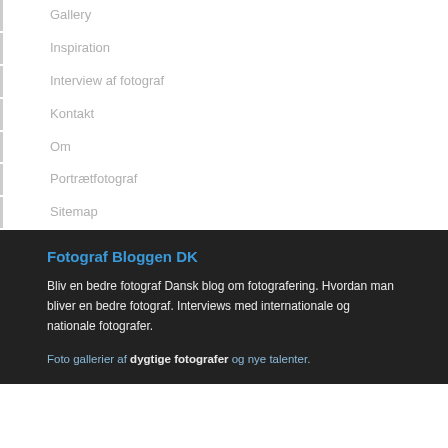Gallery
Inspiration
Interview af fotograf
Kontakt
Om
Portrætfotograf
Sitemap
Fotograf Bloggen DK
Bliv en bedre fotograf Dansk blog om fotografering. Hvordan man bliver en bedre fotograf. Interviews med internationale og nationale fotografer.
Foto gallerier af dygtige fotografer og nye talenter.